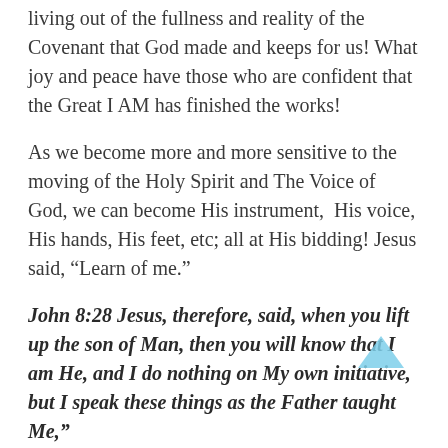living out of the fullness and reality of the Covenant that God made and keeps for us! What joy and peace have those who are confident that the Great I AM has finished the works!
As we become more and more sensitive to the moving of the Holy Spirit and The Voice of God, we can become His instrument,  His voice, His hands, His feet, etc; all at His bidding! Jesus said, “Learn of me.”
John 8:28 Jesus, therefore, said, when you lift up the son of Man, then you will know that I am He, and I do nothing on My own initiative, but I speak these things as the Father taught Me,”
John 5:19  Then answered Jesus and said unto